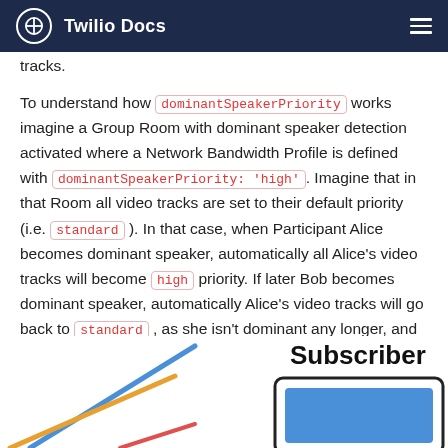Twilio Docs
tracks.
To understand how dominantSpeakerPriority works imagine a Group Room with dominant speaker detection activated where a Network Bandwidth Profile is defined with dominantSpeakerPriority: 'high'. Imagine that in that Room all video tracks are set to their default priority (i.e. standard ). In that case, when Participant Alice becomes dominant speaker, automatically all Alice's video tracks will become high priority. If later Bob becomes dominant speaker, automatically Alice's video tracks will go back to standard , as she isn't dominant any longer, and Bob's video tracks will be upgraded to high .
[Figure (illustration): Partial diagram showing lines (blue and orange diagonal lines) on the left side and a 'Subscriber' box on the right side with a blue rectangle inside, partially visible at the bottom of the page.]